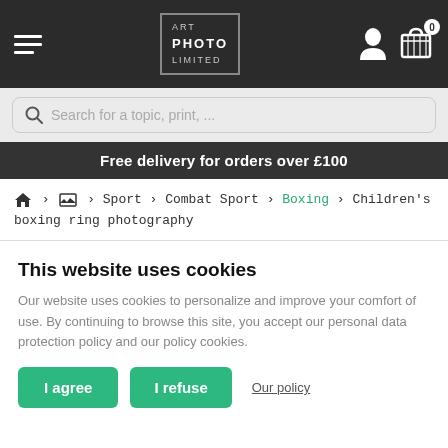ART PHOTO LIMITED — navigation header with hamburger menu, logo, user icon, cart (0)
Search for a topic, print, ...
Free delivery for orders over £100
Home › [image] › Sport › Combat Sport › Boxing › Children's boxing ring photography
This website uses cookies
Our website uses cookies to personalize and improve your comfort of use. By continuing to browse this site, you accept our personal data protection policy and our policy cookies.
I agree | I refuse | Our policy